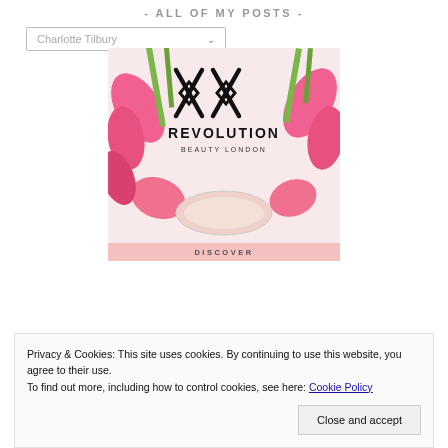- ALL OF MY POSTS -
Charlotte Tilbury
[Figure (logo): XX Revolution Beauty London logo with pink flowers and a beauty compact, with 'DISCOVER' text at bottom]
Privacy & Cookies: This site uses cookies. By continuing to use this website, you agree to their use.
To find out more, including how to control cookies, see here: Cookie Policy
Close and accept